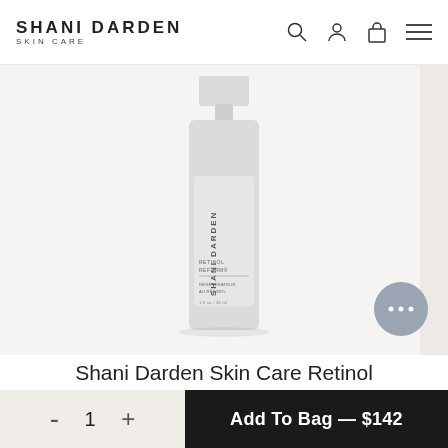SHANI DARDEN SKIN CARE
[Figure (photo): Shani Darden Skin Care Retinol Reform product bottle, tall light gray/lavender pump bottle with brand name and product name printed vertically on label]
Shani Darden Skin Care Retinol Reform
★★★★★ 48 Reviews   (1 fl oz / 30 ml)
- 1 +   Add To Bag — $142